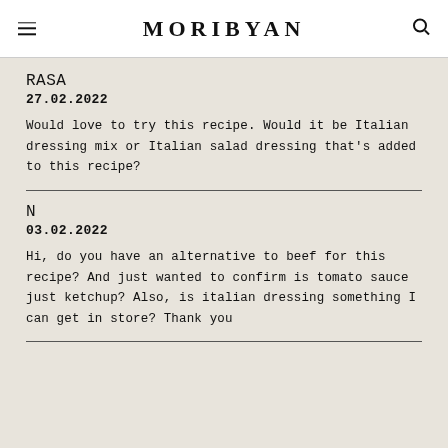MORIBYAN
RASA
27.02.2022
Would love to try this recipe. Would it be Italian dressing mix or Italian salad dressing that's added to this recipe?
N
03.02.2022
Hi, do you have an alternative to beef for this recipe? And just wanted to confirm is tomato sauce just ketchup? Also, is italian dressing something I can get in store? Thank you